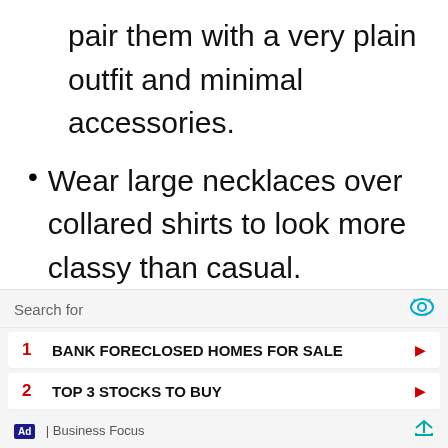pair them with a very plain outfit and minimal accessories.
Wear large necklaces over collared shirts to look more classy than casual.
To make necklaces lay flat, tie it once around your neck and let the ends flow down. Another alternative is to bring the two
Search for | BANK FORECLOSED HOMES FOR SALE | TOP 3 STOCKS TO BUY | Ad | Business Focus